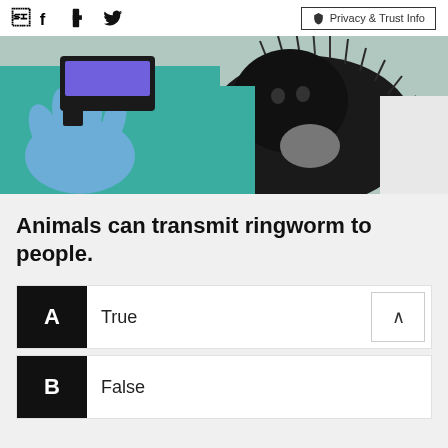Facebook Twitter | Privacy & Trust Info
[Figure (photo): A veterinarian in teal scrubs and blue gloves holds a UV/black light device up to a fluffy black cat, examining the animal's fur for fungal infection (ringworm).]
Animals can transmit ringworm to people.
A True
B False